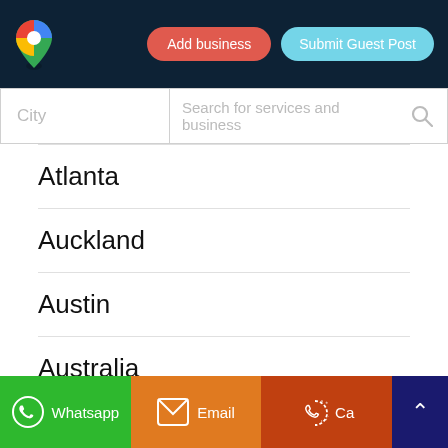Add business | Submit Guest Post
[Figure (screenshot): Search bar with City field and 'Search for services and business' input with magnifying glass icon]
Atlanta
Auckland
Austin
Australia
Automation Companies
Whatsapp | Email | Call